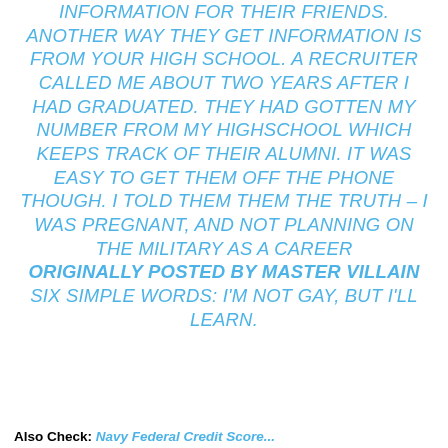INFORMATION FOR THEIR FRIENDS. ANOTHER WAY THEY GET INFORMATION IS FROM YOUR HIGH SCHOOL. A RECRUITER CALLED ME ABOUT TWO YEARS AFTER I HAD GRADUATED. THEY HAD GOTTEN MY NUMBER FROM MY HIGHSCHOOL WHICH KEEPS TRACK OF THEIR ALUMNI. IT WAS EASY TO GET THEM OFF THE PHONE THOUGH. I TOLD THEM THEM THE TRUTH – I WAS PREGNANT, AND NOT PLANNING ON THE MILITARY AS A CAREER ORIGINALLY POSTED BY MASTER VILLAIN SIX SIMPLE WORDS: I'M NOT GAY, BUT I'LL LEARN.
Also Check: Navy Federal Credit Score...